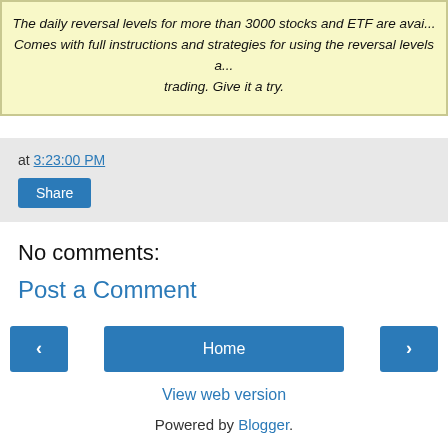The daily reversal levels for more than 3000 stocks and ETF are avai... Comes with full instructions and strategies for using the reversal levels a... trading. Give it a try.
at 3:23:00 PM
Share
No comments:
Post a Comment
‹
Home
›
View web version
Powered by Blogger.